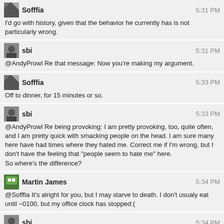Sofffia — 5:31 PM — I'd go with history, given that the behavior he currently has is not particularly wrong.
sbi — 5:31 PM — @AndyProwl Re that message: Now you're making my argument.
Sofffia — 5:33 PM — Off to dinner, for 15 minutes or so.
sbi — 5:33 PM — @AndyProwl Re being provoking: I am pretty provoking, too, quite often, and I am pretty quick with smacking people on the head. I am sure many here have had times where they hated me. Correct me if I'm wrong, but I don't have the feeling that "people seem to hate me" here.
So where's the difference?
Martin James — 5:34 PM — @Sofffia It's alright for you, but I may starve to death. I don't usualy eat until ~0100, but my office clock has stopped:(
sbi — 5:34 PM — (That's a honest question, BTW.)
Jerry Coffin — 5:35 PM — @Sofffia I think he'd learned approximately the limit on behavior that would be tolerated to at least some degree. He constantly pushed to that limit, while never (well, rarely, anyway) pushing far enough past it to get himself booted.
Andy Prowl — 5:36 PM